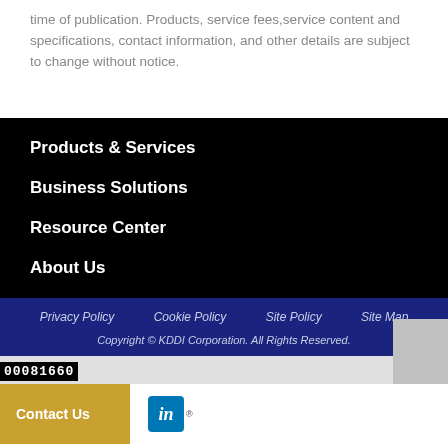time of publication. Products, service fees,service content and specifications, contact information, and other details are subject to change without notice.
Products & Services
Business Solutions
Resource Center
About Us
Privacy Policy   Cookie Policy   Site Policy   Site Map
Copyright © KDDI Corporation. All Rights Reserved.
00081660
Contact Us